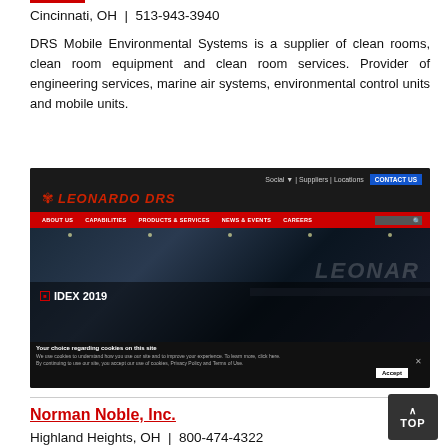Cincinnati, OH  |  513-943-3940
DRS Mobile Environmental Systems is a supplier of clean rooms, clean room equipment and clean room services. Provider of engineering services, marine air systems, environmental control units and mobile units.
[Figure (screenshot): Screenshot of Leonardo DRS website showing IDEX 2019 content with navigation bar, cookie consent banner, and company logo]
Norman Noble, Inc.
Highland Heights, OH  |  800-474-4322